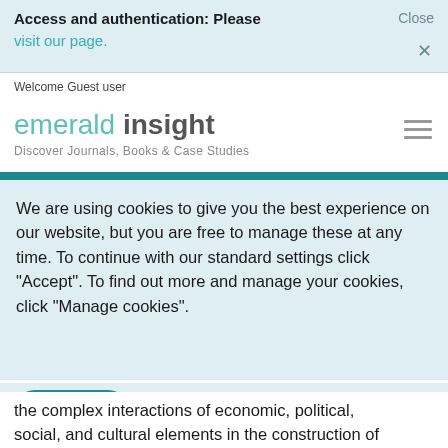Access and authentication: Please visit our page.
Close ×
Welcome Guest user
emerald insight — Discover Journals, Books & Case Studies
We are using cookies to give you the best experience on our website, but you are free to manage these at any time. To continue with our standard settings click "Accept". To find out more and manage your cookies, click "Manage cookies".
Accept  ✓   Manage cookies   ×
the complex interactions of economic, political, social, and cultural elements in the construction of